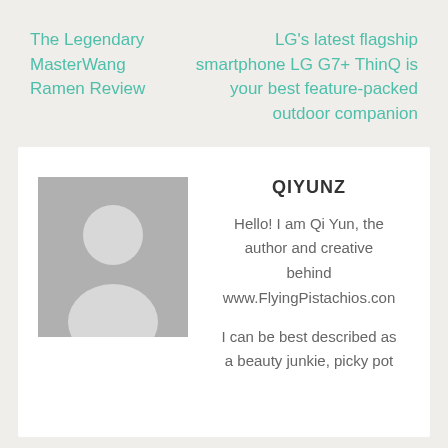The Legendary MasterWang Ramen Review
LG's latest flagship smartphone LG G7+ ThinQ is your best feature-packed outdoor companion
[Figure (illustration): Grey placeholder avatar silhouette image of a person, showing head and shoulders on a grey background]
QIYUNZ
Hello! I am Qi Yun, the author and creative behind www.FlyingPistachios.con
I can be best described as a beauty junkie, picky pot